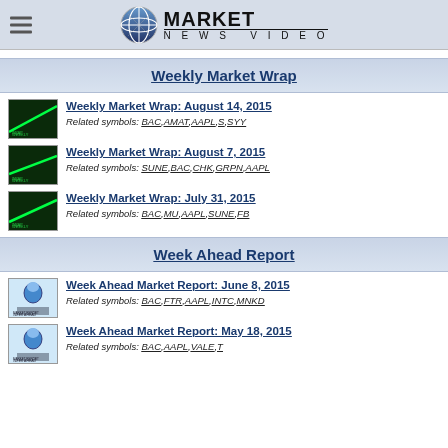MARKET NEWS VIDEO
Weekly Market Wrap
Weekly Market Wrap: August 14, 2015
Related symbols: BAC,AMAT,AAPL,S,SYY
Weekly Market Wrap: August 7, 2015
Related symbols: SUNE,BAC,CHK,GRPN,AAPL
Weekly Market Wrap: July 31, 2015
Related symbols: BAC,MU,AAPL,SUNE,FB
Week Ahead Report
Week Ahead Market Report: June 8, 2015
Related symbols: BAC,FTR,AAPL,INTC,MNKD
Week Ahead Market Report: May 18, 2015
Related symbols: BAC,AAPL,VALE,T